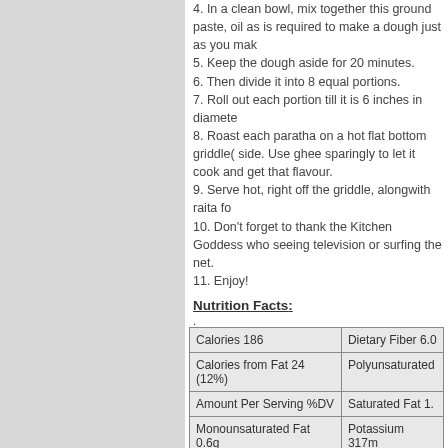4. In a clean bowl, mix together this ground paste, oil as is required to make a dough just as you mak
5. Keep the dough aside for 20 minutes.
6. Then divide it into 8 equal portions.
7. Roll out each portion till it is 6 inches in diamete
8. Roast each paratha on a hot flat bottom griddle( side. Use ghee sparingly to let it cook and get tha flavour.
9. Serve hot, right off the griddle, alongwith raita fo
10. Don't forget to thank the Kitchen Goddess who seeing television or surfing the net.
11. Enjoy!
Nutrition Facts:
|  |  |
| --- | --- |
| Calories 186 | Dietary Fiber 6.0 |
| Calories from Fat 24 (12%) | Polyunsaturated |
| Amount Per Serving %DV | Saturated Fat 1. |
| Monounsaturated Fat 0.6g | Potassium 317m |
| Total Carbohydrate 35.5g
11% | Cholesterol 4mg |
Lemon or Li (Kasuri Meth
Ingredients: